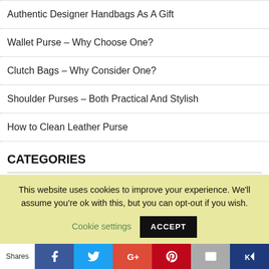Authentic Designer Handbags As A Gift
Wallet Purse – Why Choose One?
Clutch Bags – Why Consider One?
Shoulder Purses – Both Practical And Stylish
How to Clean Leather Purse
CATEGORIES
Articl…
This website uses cookies to improve your experience. We'll assume you're ok with this, but you can opt-out if you wish. Cookie settings  ACCEPT
Shares  [Facebook] [Twitter] [Google+] [Pinterest] [Email] [Kindle]